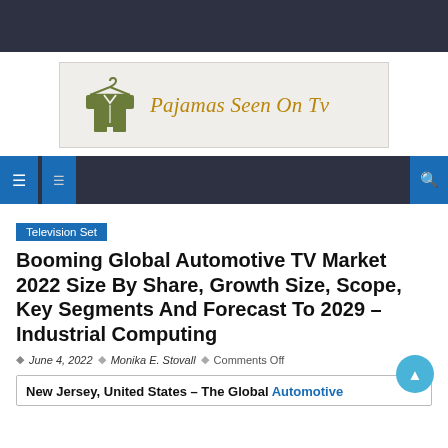[Figure (logo): Pajamas Seen On Tv logo with a pajama icon in olive/green color and the text 'Pajamas Seen On Tv' in golden-brown serif italic font on a light beige background.]
Navigation bar with home and menu icons on left, search icon on right
Television Set
Booming Global Automotive TV Market 2022 Size By Share, Growth Size, Scope, Key Segments And Forecast To 2029 – Industrial Computing
June 4, 2022  Monika E. Stovall  Comments Off
New Jersey, United States – The Global Automotive